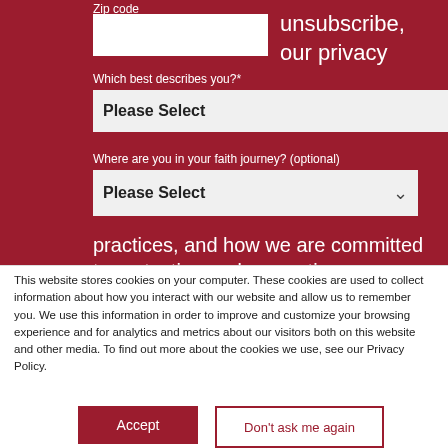Zip code
unsubscribe, our privacy
Which best describes you?*
Please Select
Where are you in your faith journey? (optional)
Please Select
practices, and how we are committed to protecting and respecting your privacy, please review our Privacy
This website stores cookies on your computer. These cookies are used to collect information about how you interact with our website and allow us to remember you. We use this information in order to improve and customize your browsing experience and for analytics and metrics about our visitors both on this website and other media. To find out more about the cookies we use, see our Privacy Policy.
Accept
Don't ask me again